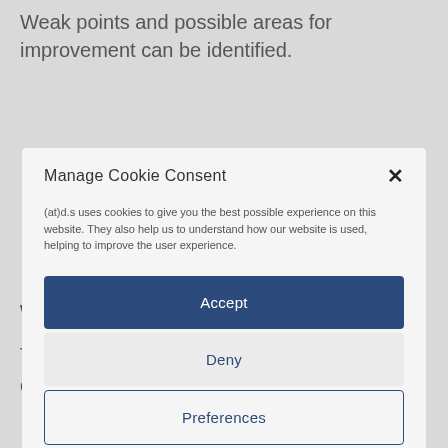Weak points and possible areas for improvement can be identified.
Manage Cookie Consent
(at)d.s uses cookies to give you the best possible experience on this website. They also help us to understand how our website is used, helping to improve the user experience.
Accept
Deny
Preferences
which helps to counteract the problems.
The idea of holding meetings and trainings online